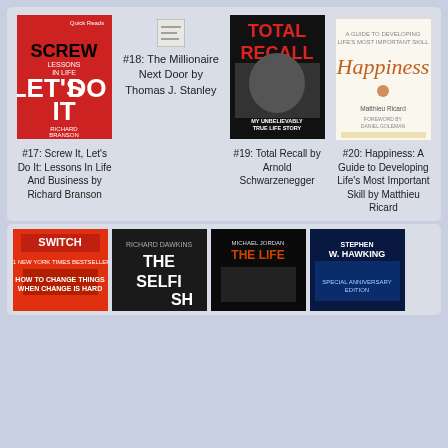[Figure (illustration): Book cover: Screw It Let's Do It by Richard Branson - red cover with author's photo]
#18: The Millionaire Next Door by Thomas J. Stanley
[Figure (photo): Book cover: Total Recall My Unbelievably True Life Story by Arnold Schwarzenegger - black and white portrait]
[Figure (illustration): Book cover: Happiness A Guide to Developing Life's Most Important Skill by Matthieu Ricard - white cover]
#17: Screw It, Let's Do It: Lessons In Life And Business by Richard Branson
#19: Total Recall by Arnold Schwarzenegger
#20: Happiness: A Guide to Developing Life's Most Important Skill by Matthieu Ricard
[Figure (illustration): Book cover: Switch by Chip Heath - red cover]
[Figure (illustration): Book cover: The Selfish Gene by Richard Dawkins - dark cover]
[Figure (photo): Book cover: Michael Jordan The Life]
[Figure (illustration): Book cover: Stephen Hawking special anniversary edition - blue cover]